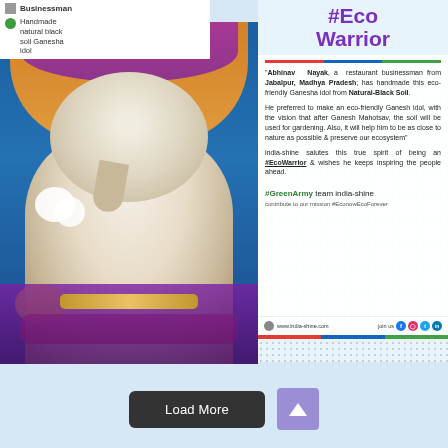#Eco Warrior
Businessman
Handmade natural black soil Ganesha idol
[Figure (photo): Photo of a Ganesha idol made from natural black soil, decorated with flowers and traditional ornaments]
"Abhinav Nayak, a restaurant businessman from Jabalpur, Madhya Pradesh; has handmade this eco-friendly Ganesha idol from Natural-Black Soil.

He preferred to make an eco-friendly Ganesh idol, with the vision that after Ganesh Mahotsav, the soil will be used for gardening. Also, it will help him to be as close to nature as possible & preserve our ecosystem"

india-shine salutes this true spirit of being an #EcoWarrior & wishes he keeps inspiring the people ahead.

#GreenArmy team india-shine
contribute to our mission #EconowEcoForever

www.india-shine.com    join us
Load More